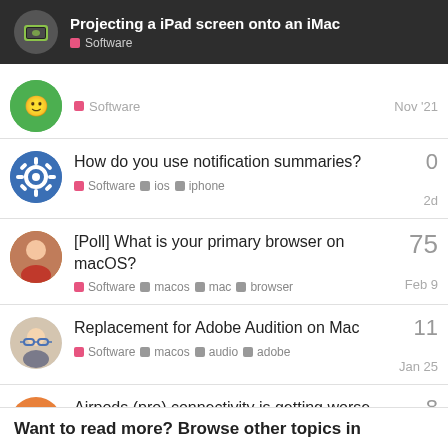Projecting a iPad screen onto an iMac — Software
How do you use notification summaries? Software ios iphone 2d 0 replies
[Poll] What is your primary browser on macOS? Software macos mac browser Feb 9 75 replies
Replacement for Adobe Audition on Mac Software macos audio adobe Jan 25 11 replies
Airpods (pro) connectivity is getting worse Software Nov '21 8 replies
Want to read more? Browse other topics in